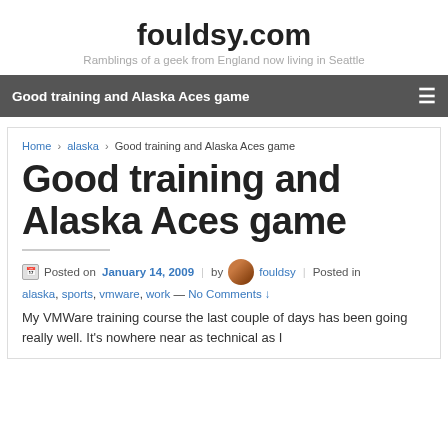fouldsy.com
Ramblings of a geek from England now living in Seattle
Good training and Alaska Aces game
Home › alaska › Good training and Alaska Aces game
Good training and Alaska Aces game
Posted on January 14, 2009 | by fouldsy | Posted in
alaska, sports, vmware, work — No Comments ↓
My VMWare training course the last couple of days has been going really well. It's nowhere near as technical as I